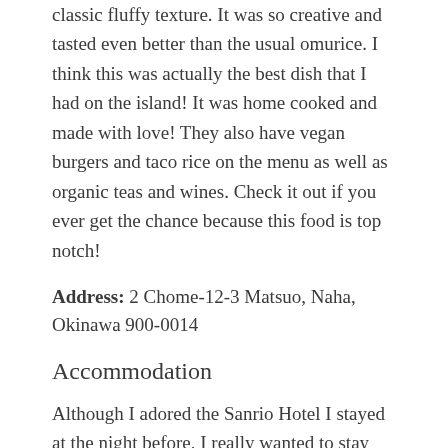classic fluffy texture. It was so creative and tasted even better than the usual omurice. I think this was actually the best dish that I had on the island! It was home cooked and made with love! They also have vegan burgers and taco rice on the menu as well as organic teas and wines. Check it out if you ever get the chance because this food is top notch!
Address: 2 Chome-12-3 Matsuo, Naha, Okinawa 900-0014
Accommodation
Although I adored the Sanrio Hotel I stayed at the night before, I really wanted to stay somewhere with a pool so I chose Naha Aqua Citta which is rated as one of the top city resorts. With its beautiful infinity...